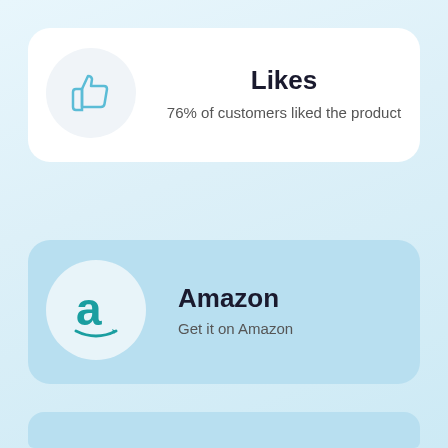[Figure (infographic): White card with a thumbs up icon in a light gray circle on the left, and text 'Likes' and '76% of customers liked the product' on the right.]
Likes
76% of customers liked the product
[Figure (infographic): Light blue card with the Amazon logo (letter 'a' with arrow) in a white circle on the left, and text 'Amazon' and 'Get it on Amazon' on the right.]
Amazon
Get it on Amazon